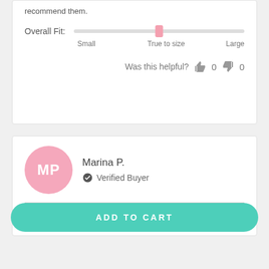recommend them.
Overall Fit:  Small  True to size  Large
Was this helpful?  0  0
Marina P.
Verified Buyer
ADD TO CART
Zeph/ High Rise Leggings - Dark Gray